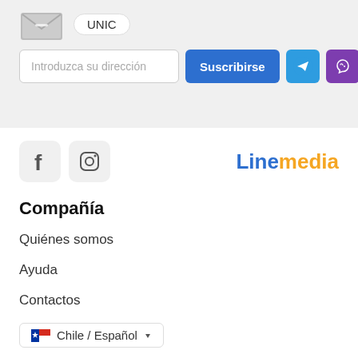[Figure (illustration): Envelope icon with UNIC badge]
Introduzca su dirección
Suscribirse
[Figure (logo): Linemedia logo with Line in blue and media in orange]
[Figure (illustration): Facebook icon box and Instagram icon box]
Compañía
Quiénes somos
Ayuda
Contactos
Chile / Español